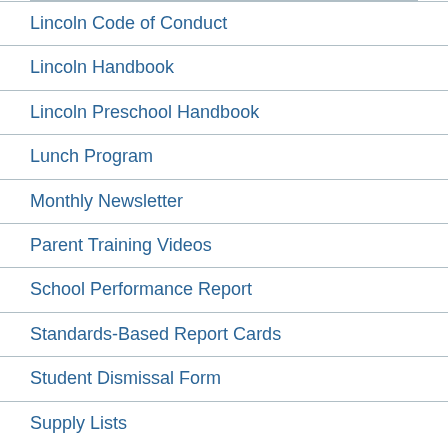Lincoln Code of Conduct
Lincoln Handbook
Lincoln Preschool Handbook
Lunch Program
Monthly Newsletter
Parent Training Videos
School Performance Report
Standards-Based Report Cards
Student Dismissal Form
Supply Lists